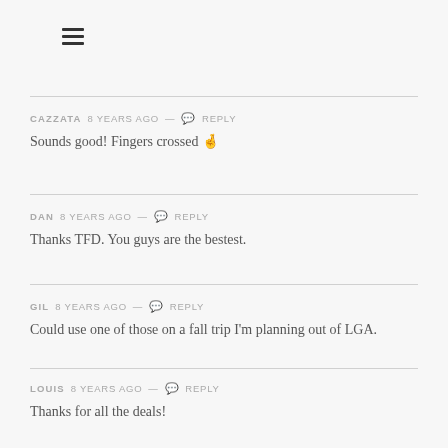CAZZATA 8 years ago — Reply
Sounds good! Fingers crossed 🤞
DAN 8 years ago — Reply
Thanks TFD. You guys are the bestest.
GIL 8 years ago — Reply
Could use one of those on a fall trip I'm planning out of LGA.
LOUIS 8 years ago — Reply
Thanks for all the deals!